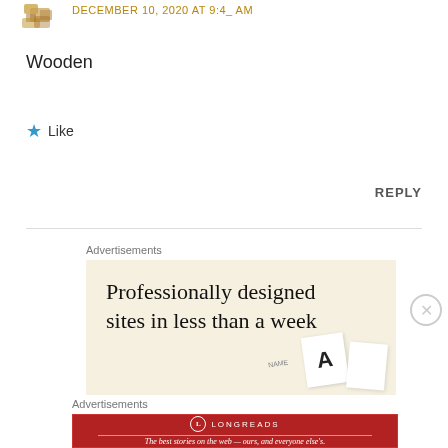[Figure (illustration): Small decorative avatar icon in brownish tones]
December 10, 2020 at 9:4_ AM
Wooden
★ Like
REPLY
Advertisements
[Figure (photo): Advertisement banner: 'Professionally designed sites in less than a week' on a beige background with decorative cards]
Advertisements
[Figure (logo): Longreads advertisement: red banner with circle logo and tagline 'The best stories on the web — ours, and everyone else's.']